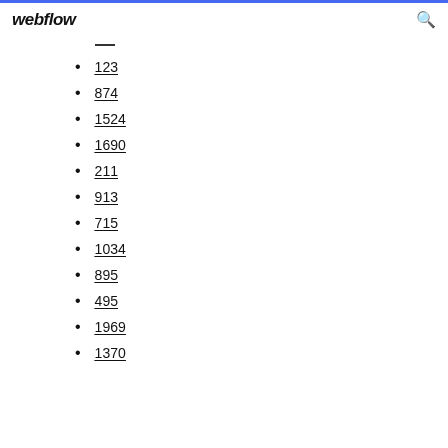webflow
123
874
1524
1690
211
913
715
1034
895
495
1969
1370